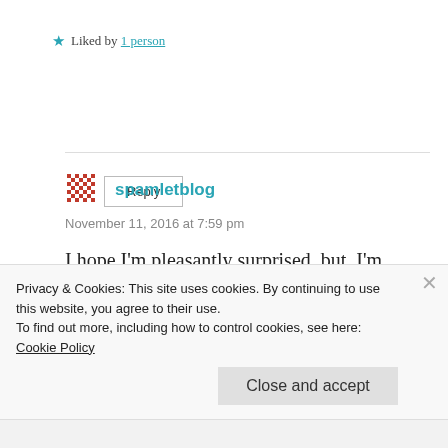★ Liked by 1 person
Reply
spamletblog
November 11, 2016 at 7:59 pm
I hope I'm pleasantly surprised, but, I'm afraid that hearing he works in Crawley's
Privacy & Cookies: This site uses cookies. By continuing to use this website, you agree to their use.
To find out more, including how to control cookies, see here:
Cookie Policy
Close and accept